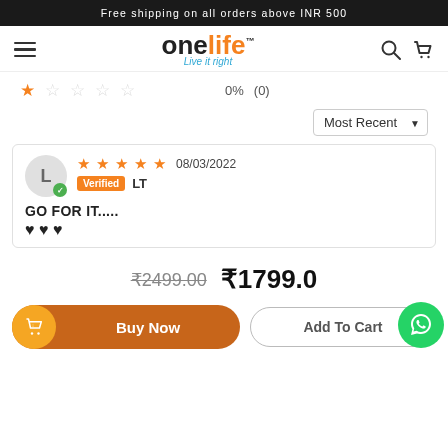Free shipping on all orders above INR 500
[Figure (logo): Onelife logo with tagline 'Live it right']
★☆☆☆☆  0%  (0)
Most Recent ▼
★★★★★  08/03/2022  Verified  LT
GO FOR IT.....
♥♥♥
₹2499.00  ₹1799.0
Buy Now
Add To Cart